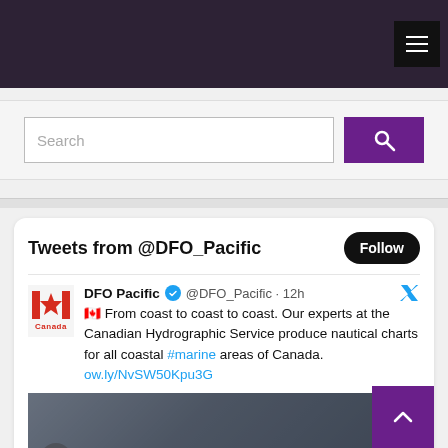DFO Pacific government website header navigation bar
Search
[Figure (screenshot): Twitter/X widget showing tweets from @DFO_Pacific. Contains a tweet from DFO Pacific account with verified badge, @DFO_Pacific handle, posted 12h ago. Tweet text: From coast to coast to coast. Our experts at the Canadian Hydrographic Service produce nautical charts for all coastal #marine areas of Canada. ow.ly/NvSW50Kpu3G. Includes a photo of a person looking at nautical charts.]
Tweets from @DFO_Pacific
DFO Pacific @DFO_Pacific · 12h 🇨🇦 From coast to coast to coast. Our experts at the Canadian Hydrographic Service produce nautical charts for all coastal #marine areas of Canada. ow.ly/NvSW50Kpu3G